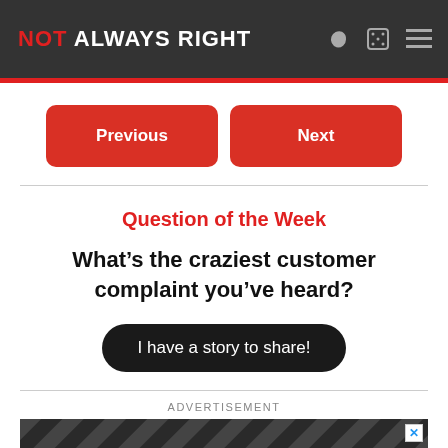NOT ALWAYS RIGHT
Previous
Next
Question of the Week
What's the craziest customer complaint you've heard?
I have a story to share!
ADVERTISEMENT
[Figure (screenshot): Advertisement banner showing 'NOT ALWAYS RIGHT' logo on dark diagonal striped background]